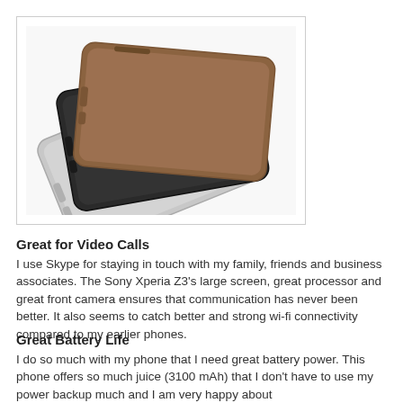[Figure (photo): Three Sony Xperia Z3 smartphones stacked together showing back panels in bronze/gold, black, and silver colors]
Great for Video Calls
I use Skype for staying in touch with my family, friends and business associates. The Sony Xperia Z3's large screen, great processor and great front camera ensures that communication has never been better. It also seems to catch better and strong wi-fi connectivity compared to my earlier phones.
Great Battery Life
I do so much with my phone that I need great battery power. This phone offers so much juice (3100 mAh) that I don't have to use my power backup much and I am very happy about